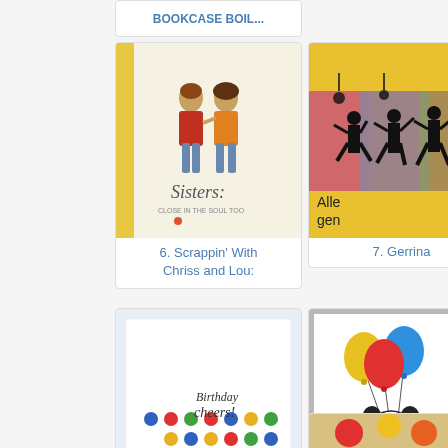[Figure (screenshot): Partial top card showing 'BOOKCASE BOIL...' link in a white rounded card]
[Figure (photo): Card 6 thumbnail: two girls illustration with 'Sisters:' text, Sisters card crafting project]
6. Scrappin' With Chriss and Lou:
[Figure (photo): Card 7 thumbnail: silhouettes of dancing people on colorful background, yellow borders, text 'Alle gen']
7. Gerrina
[Figure (photo): Card 8 thumbnail: blue/purple card with stamped images including gift box, star, circular stamp]
8. GerJan
[Figure (photo): Card 11 thumbnail: white card with colorful polka dots in corner and 'Birthday cheers!' text]
11. Ishani
[Figure (photo): Card 12 thumbnail: panda bear holding colorful balloons with 'Happy Birthday' text]
12. Spectrum Ink: Happy Birthday P
[Figure (photo): Card 13 thumbnail: blue card with sunflowers and 'Happy Birthday' text and hearts]
13. Skye
[Figure (photo): Bottom partial card thumbnails: yellow/red balloon/fruit image and dark blue card partially visible]